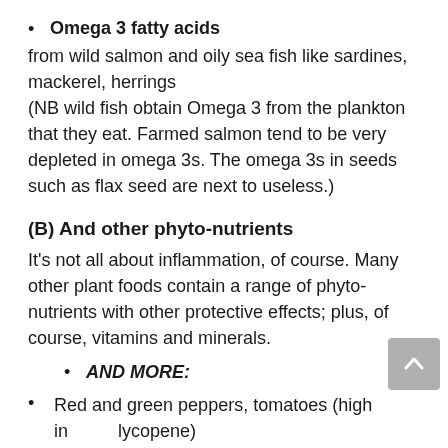Omega 3 fatty acids
from wild salmon and oily sea fish like sardines, mackerel, herrings
(NB wild fish obtain Omega 3 from the plankton that they eat. Farmed salmon tend to be very depleted in omega 3s. The omega 3s in seeds such as flax seed are next to useless.)
(B) And other phyto-nutrients
It's not all about inflammation, of course. Many other plant foods contain a range of phyto-nutrients with other protective effects; plus, of course, vitamins and minerals.
AND MORE:
Red and green peppers, tomatoes (high in lycopene)
Squash, leafy vegetables (high in lutein)